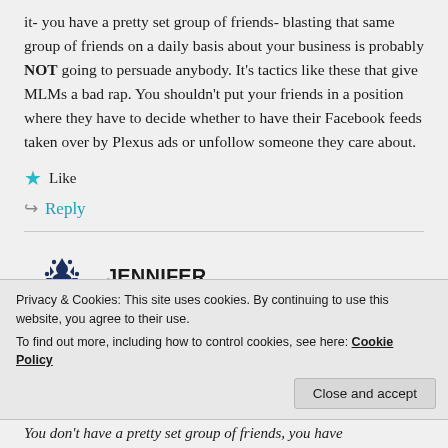it- you have a pretty set group of friends- blasting that same group of friends on a daily basis about your business is probably NOT going to persuade anybody. It's tactics like these that give MLMs a bad rap. You shouldn't put your friends in a position where they have to decide whether to have their Facebook feeds taken over by Plexus ads or unfollow someone they care about.
★ Like
↦ Reply
JENNIFER
Privacy & Cookies: This site uses cookies. By continuing to use this website, you agree to their use. To find out more, including how to control cookies, see here: Cookie Policy
Close and accept
You don't have a pretty set group of friends, you have